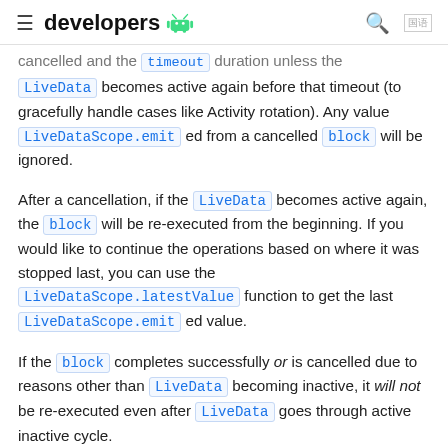≡ developers [android logo] 🔍 [lang]
cancelled and the timeout duration unless the LiveData becomes active again before that timeout (to gracefully handle cases like Activity rotation). Any value LiveDataScope.emit ed from a cancelled block will be ignored.
After a cancellation, if the LiveData becomes active again, the block will be re-executed from the beginning. If you would like to continue the operations based on where it was stopped last, you can use the LiveDataScope.latestValue function to get the last LiveDataScope.emit ed value.
If the block completes successfully or is cancelled due to reasons other than LiveData becoming inactive, it will not be re-executed even after LiveData goes through active inactive cycle.